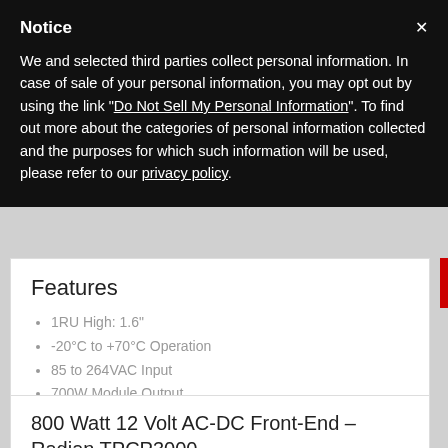Notice
We and selected third parties collect personal information. In case of sale of your personal information, you may opt out by using the link "Do Not Sell My Personal Information". To find out more about the categories of personal information collected and the purposes for which such information will be used, please refer to our privacy policy.
Features
1RU High: 1.6"
-20°C to +70°C Operation
85 to 264VAC Input
700W Module Output
Read More »
800 Watt 12 Volt AC-DC Front-End – Radian TPCP3000